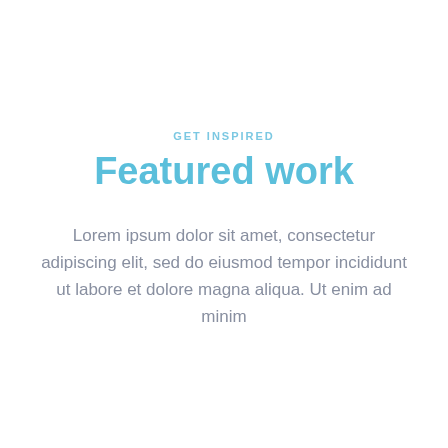GET INSPIRED
Featured work
Lorem ipsum dolor sit amet, consectetur adipiscing elit, sed do eiusmod tempor incididunt ut labore et dolore magna aliqua. Ut enim ad minim